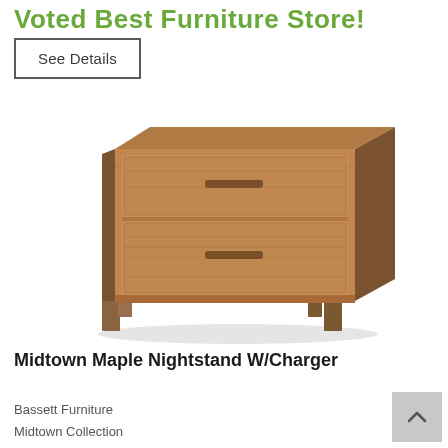Voted Best Furniture Store!
See Details
[Figure (photo): A wooden nightstand with two drawers, light maple finish, shown on white background. The nightstand has a rectangular solid wood frame with visible wood grain, two recessed drawer pulls, and four legs.]
Midtown Maple Nightstand W/Charger
Bassett Furniture
Midtown Collection